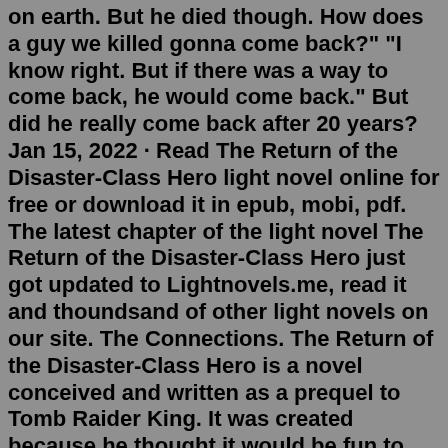on earth. But he died though. How does a guy we killed gonna come back?" "I know right. But if there was a way to come back, he would come back." But did he really come back after 20 years? Jan 15, 2022 · Read The Return of the Disaster-Class Hero light novel online for free or download it in epub, mobi, pdf. The latest chapter of the light novel The Return of the Disaster-Class Hero just got updated to Lightnovels.me, read it and thoundsand of other light novels on our site. The Connections. The Return of the Disaster-Class Hero is a novel conceived and written as a prequel to Tomb Raider King. It was created because he thought it would be fun to write about the person who created the world view of relics, so he started writing with various ideas. "Return of the Disaster-Class Hero is a Manhwa in (English/Raw) language, Action series, english chapters have been translated and you can read them here. You are reading Return of the Disaster-Class Hero chapters on www.returnofthedisasterclasshero.com, fastest